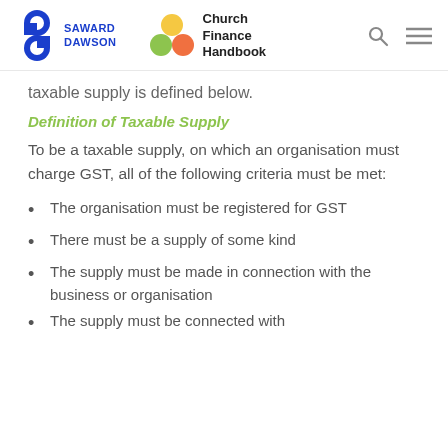SAWARD DAWSON | Church Finance Handbook
taxable supply is defined below.
Definition of Taxable Supply
To be a taxable supply, on which an organisation must charge GST, all of the following criteria must be met:
The organisation must be registered for GST
There must be a supply of some kind
The supply must be made in connection with the business or organisation
The supply must be connected with